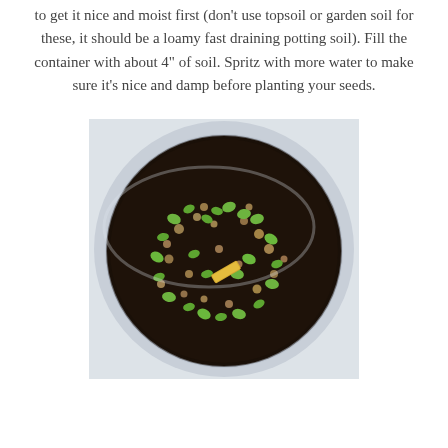to get it nice and moist first (don't use topsoil or garden soil for these, it should be a loamy fast draining potting soil). Fill the container with about 4" of soil. Spritz with more water to make sure it's nice and damp before planting your seeds.
[Figure (photo): Top-down view of a round container filled with dark potting soil, showing numerous small green seedlings sprouting among the soil. A small yellow label/tag is visible in the center of the soil surface.]